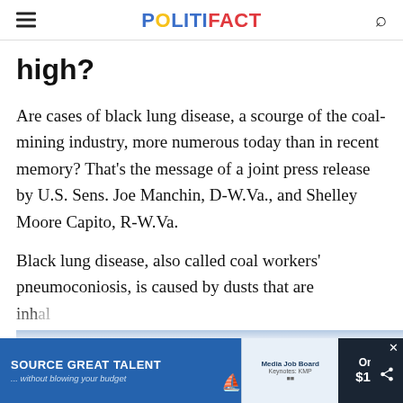POLITIFACT
high?
Are cases of black lung disease, a scourge of the coal-mining industry, more numerous today than in recent memory? That's the message of a joint press release by U.S. Sens. Joe Manchin, D-W.Va., and Shelley Moore Capito, R-W.Va.
Black lung disease, also called coal workers' pneumoconiosis, is caused by dusts that are inhaled and create … result to
[Figure (infographic): Advertisement banner at bottom: 'SOURCE GREAT TALENT ... without blowing your budget' with Media Job Board logo and 'Only $199' pricing panel. Dark close button (x) and share icon overlay.]